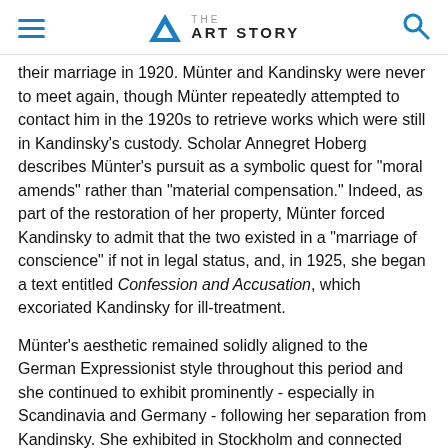THE ART STORY
their marriage in 1920. Münter and Kandinsky were never to meet again, though Münter repeatedly attempted to contact him in the 1920s to retrieve works which were still in Kandinsky's custody. Scholar Annegret Hoberg describes Münter's pursuit as a symbolic quest for "moral amends" rather than "material compensation." Indeed, as part of the restoration of her property, Münter forced Kandinsky to admit that the two existed in a "marriage of conscience" if not in legal status, and, in 1925, she began a text entitled Confession and Accusation, which excoriated Kandinsky for ill-treatment.
Münter's aesthetic remained solidly aligned to the German Expressionist style throughout this period and she continued to exhibit prominently - especially in Scandinavia and Germany - following her separation from Kandinsky. She exhibited in Stockholm and connected with the Swedish...